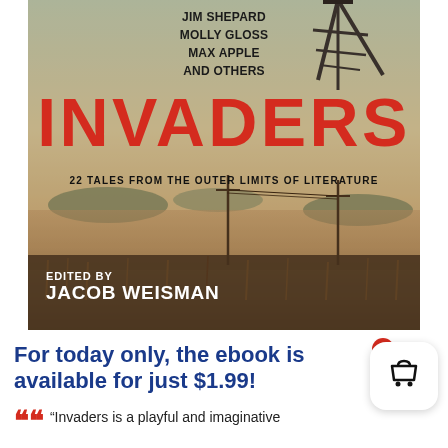[Figure (illustration): Book cover for 'Invaders: 22 Tales from the Outer Limits of Literature', edited by Jacob Weisman. Features authors Jim Shepard, Molly Gloss, Max Apple and Others. Large red title text over a sepia landscape background with a mechanical structure/tower in the upper right.]
For today only, the ebook is available for just $1.99!
“Invaders is a playful and imaginative